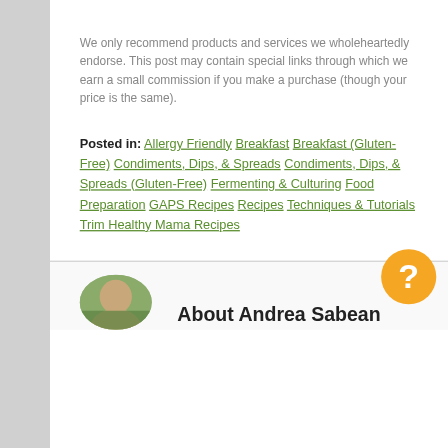We only recommend products and services we wholeheartedly endorse. This post may contain special links through which we earn a small commission if you make a purchase (though your price is the same).
Posted in: Allergy Friendly Breakfast Breakfast (Gluten-Free) Condiments, Dips, & Spreads Condiments, Dips, & Spreads (Gluten-Free) Fermenting & Culturing Food Preparation GAPS Recipes Recipes Techniques & Tutorials Trim Healthy Mama Recipes
About Andrea Sabean